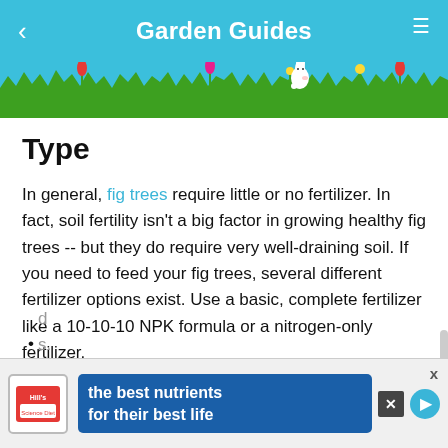Garden Guides
[Figure (illustration): Decorative garden header illustration with sky blue background, green grass silhouette, colorful flowers, and a white rabbit character]
Type
In general, fig trees require little or no fertilizer. In fact, soil fertility isn't a big factor in growing healthy fig trees -- but they do require very well-draining soil. If you need to feed your fig trees, several different fertilizer options exist. Use a basic, complete fertilizer like a 10-10-10 NPK formula or a nitrogen-only fertilizer.
[Figure (infographic): Advertisement banner for Hill's pet nutrition: logo on left, text 'the best nutrients for their best life' on blue background with arrow button, close X button at top right]